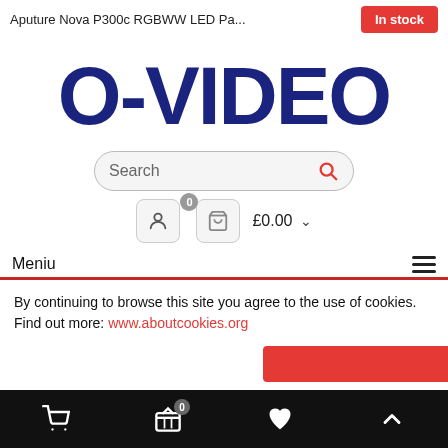Aputure Nova P300c RGBWW LED Pa... In stock
[Figure (logo): O-VIDEO logo in large dark blue bold text]
[Figure (screenshot): Search box with placeholder text 'Search' and red search icon on grey background with rounded border]
[Figure (screenshot): User icon button, cart icon button with badge '0', and price label '£0.00' with dropdown arrow]
Meniu
By continuing to browse this site you agree to the use of cookies. Find out more: www.aboutcookies.org
Bottom navigation bar with cart, basket (0), heart, and up-arrow icons